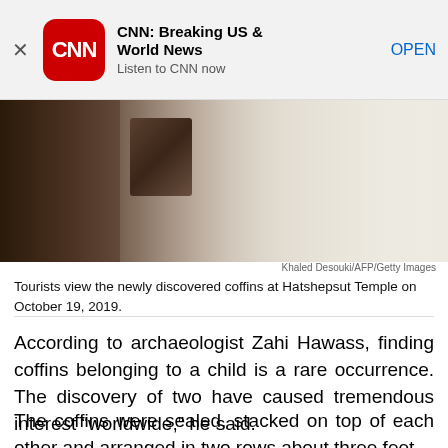CNN: Breaking US & World News
Listen to CNN now
OPEN
[Figure (photo): Dark image of artifacts on a white cloth-covered table at Hatshepsut Temple, likely showing discovered coffins or stone slabs]
Khaled Desouki/AFP/Getty Images
Tourists view the newly discovered coffins at Hatshepsut Temple on October 19, 2019.
According to archaeologist Zahi Hawass, finding coffins belonging to a child is a rare occurrence. The discovery of two have caused tremendous interest “worldwide,” he said.
The coffins were sealed, stacked on top of each other and arranged in two rows about three feet below the ground, he said.